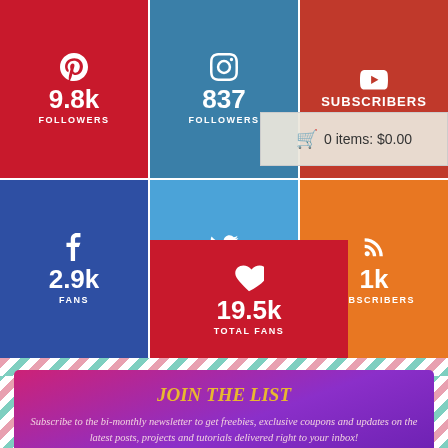[Figure (infographic): Social media stats grid: Pinterest 9.8k followers, Instagram 837 followers, YouTube subscribers, Facebook 2.9k fans, Twitter 107 followers, RSS 1k subscribers, Email 4.9k subscribers, Total 19.5k fans]
0 items: $0.00
JOIN THE LIST
Subscribe to the bi-monthly newsletter to get freebies, exclusive coupons and updates on the latest posts, projects and tutorials delivered right to your inbox!